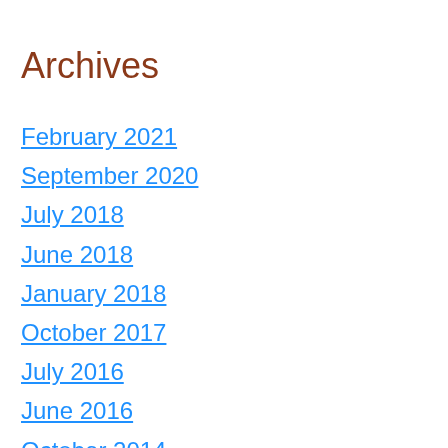Archives
February 2021
September 2020
July 2018
June 2018
January 2018
October 2017
July 2016
June 2016
October 2014
July 2014